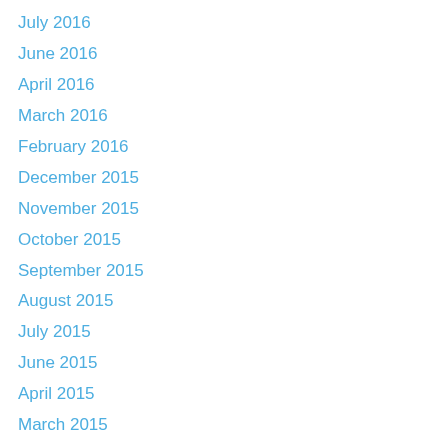July 2016
June 2016
April 2016
March 2016
February 2016
December 2015
November 2015
October 2015
September 2015
August 2015
July 2015
June 2015
April 2015
March 2015
February 2015
January 2015
December 2014
November 2014
October 2014
September 2014